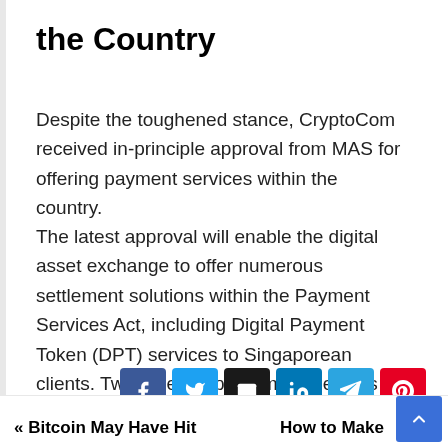the Country
Despite the toughened stance, CryptoCom received in-principle approval from MAS for offering payment services within the country.
The latest approval will enable the digital asset exchange to offer numerous settlement solutions within the Payment Services Act, including Digital Payment Token (DPT) services to Singaporean clients. Two other crypto firms – Genesis and Sparrow – also scored the approval to provide similar services.
[Figure (infographic): Social share buttons: Facebook, Twitter, Email, LinkedIn, Telegram, Pinterest]
« Bitcoin May Have Hit   How to Make